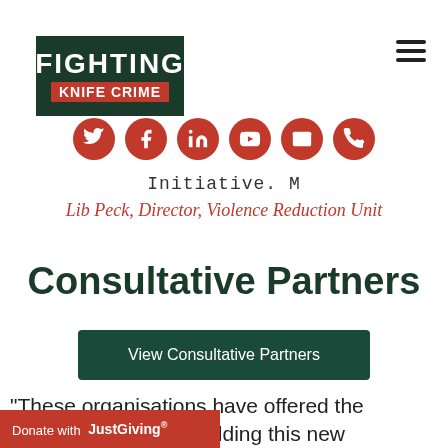[Figure (logo): Fighting Knife Crime logo with dark green background and red banner]
[Figure (infographic): Row of 6 red circular social media icons: Twitter, Facebook, LinkedIn, YouTube, Email, Phone]
Initiative. M
Lib Peck, Director, Violence Reduction Unit
Consultative Partners
[Figure (other): Dark green button labeled 'View Consultative Partners']
"These organisations have offered the greatest support in building this new
[Figure (other): Donate with JustGiving red bar at bottom left]